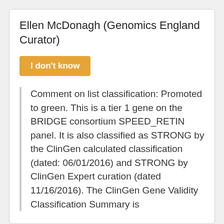Ellen McDonagh (Genomics England Curator)
I don't know
Comment on list classification: Promoted to green. This is a tier 1 gene on the BRIDGE consortium SPEED_RETIN panel. It is also classified as STRONG by the ClinGen calculated classification (dated: 06/01/2016) and STRONG by ClinGen Expert curation (dated 11/16/2016). The ClinGen Gene Validity Classification Summary is